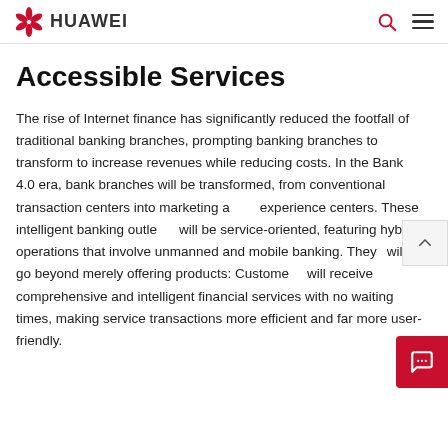HUAWEI
Accessible Services
The rise of Internet finance has significantly reduced the footfall of traditional banking branches, prompting banking branches to transform to increase revenues while reducing costs. In the Bank 4.0 era, bank branches will be transformed, from conventional transaction centers into marketing and experience centers. These intelligent banking outlets will be service-oriented, featuring hybrid operations that involve unmanned and mobile banking. They will go beyond merely offering products: Customers will receive comprehensive and intelligent financial services with no waiting times, making service transactions more efficient and far more user-friendly.